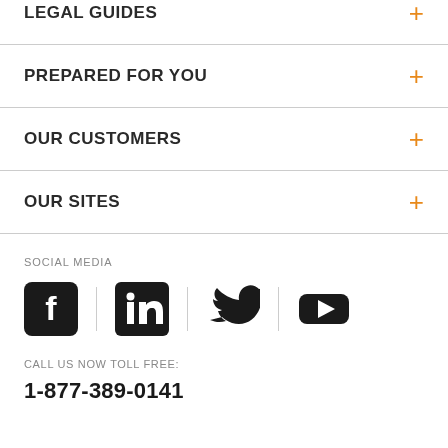LEGAL GUIDES
PREPARED FOR YOU
OUR CUSTOMERS
OUR SITES
SOCIAL MEDIA
[Figure (illustration): Social media icons: Facebook, LinkedIn, Twitter, YouTube]
CALL US NOW TOLL FREE:
1-877-389-0141